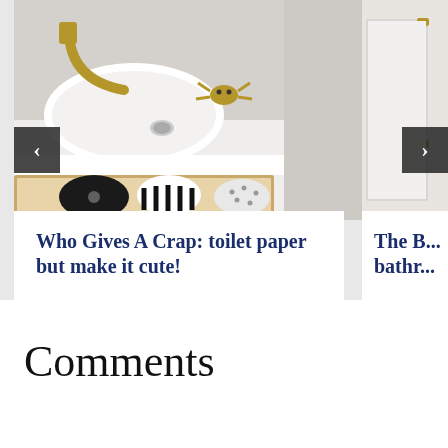[Figure (photo): Bathroom vanity with white oval sink, gold faucet, and open drawer with decorative black and white toiletries]
Who Gives A Crap: toilet paper but make it cute!
[Figure (photo): Partial view of a bathroom with glass shower enclosure and gold hardware]
The B... bathr...
Comments